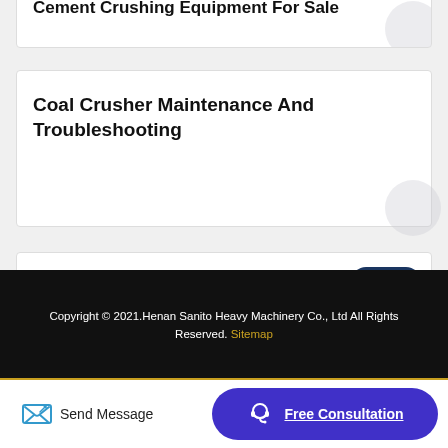Cement Crushing Equipment For Sale
Coal Crusher Maintenance And Troubleshooting
Rotating Multi Crusher Shear
Copyright © 2021.Henan Sanito Heavy Machinery Co., Ltd All Rights Reserved. Sitemap
Send Message
Free Consultation